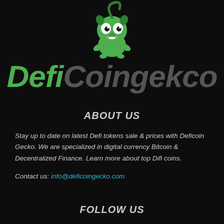[Figure (logo): DefiCoingekco logo with green cartoon gecko mascot above the brand name. 'Defi' in green bold italic, 'Coingekco' in grey bold italic.]
ABOUT US
Stay up to date on latest Defi tokens sale & prices with Deficoin Gecko. We are specialized in digital currency Bitcoin & Decentralized Finance. Learn more about top Difi coins.
Contact us: info@deficoingecko.com
FOLLOW US